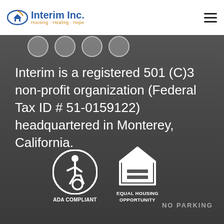[Figure (logo): Interim Inc. logo with house icon and tagline Housing · Healing · Hope]
Interim is a registered 501 (C)3 non-profit organization (Federal Tax ID # 51-0159122) headquartered in Monterey, California.
[Figure (illustration): ADA Compliant symbol — wheelchair user in white circle]
[Figure (illustration): Equal Housing Opportunity logo — house with equal sign inside]
NO PARKING